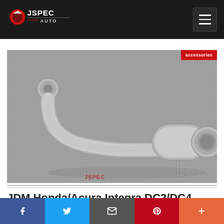JSpec Auto
[Figure (photo): JDM exhaust muffler/silencer with curved pipe on gray background, with JSpec Auto watermark at bottom]
JDM Honda/Acura Integra DC2/DC4
Facebook, Twitter, Email, Pinterest, Plus share buttons